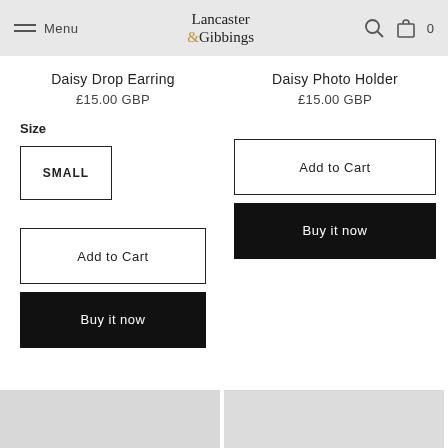Menu | Lancaster & Gibbings | Search | Cart 0
Daisy Drop Earring
£15.00 GBP
Daisy Photo Holder
£15.00 GBP
Size
SMALL
Add to Cart
Buy it now
Add to Cart
Buy it now
[Figure (photo): Bottom left product image placeholder (light grey)]
[Figure (photo): Bottom right product image placeholder (light grey)]